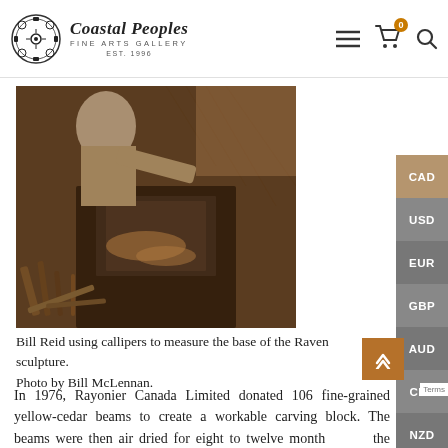[Figure (logo): Coastal Peoples Fine Arts Gallery logo with decorative circular indigenous art icon, established 1996]
[Figure (photo): Bill Reid using callipers to measure the base of a Raven sculpture in a workshop setting]
Bill Reid using callipers to measure the base of the Raven sculpture.
Photo by Bill McLennan.
In 1976, Rayonier Canada Limited donated 106 fine-grained yellow-cedar beams to create a workable carving block. The beams were then air dried for eight to twelve months. With the assistance of Forintek Canada Limited, kiln dried for a further two months. Wood technologists at Koppers